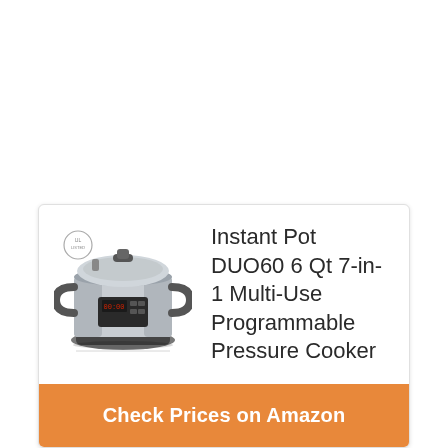[Figure (photo): Photo of Instant Pot DUO60 6 Qt pressure cooker, stainless steel with black handles and digital display panel, showing a small certification badge in the top left corner.]
Instant Pot DUO60 6 Qt 7-in-1 Multi-Use Programmable Pressure Cooker
Check Prices on Amazon